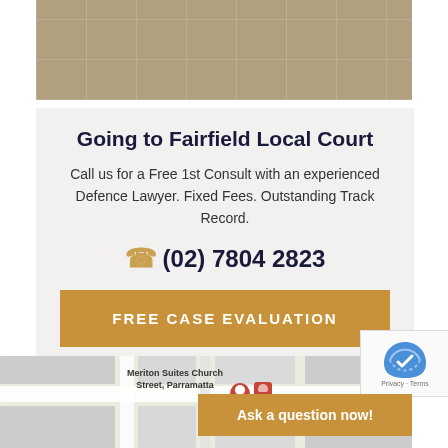[Figure (photo): Aerial or ground-level view of stone/concrete tile pavement, brownish-grey tones]
Going to Fairfield Local Court
Call us for a Free 1st Consult with an experienced Defence Lawyer. Fixed Fees. Outstanding Track Record.
(02) 7804 2823
FREE CASE EVALUATION
[Figure (map): Google Maps screenshot showing Meriton Suites Church Street, Parramatta with map pin]
Ask a question now!